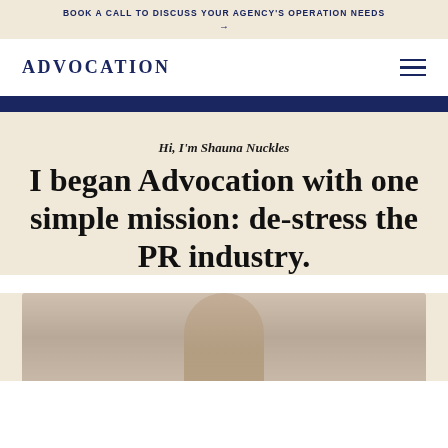BOOK A CALL TO DISCUSS YOUR AGENCY'S OPERATION NEEDS →
ADVOCATION
Hi, I'm Shauna Nuckles
I began Advocation with one simple mission: de-stress the PR industry.
[Figure (photo): Photo of Shauna Nuckles, a person visible from the torso up against a light background]